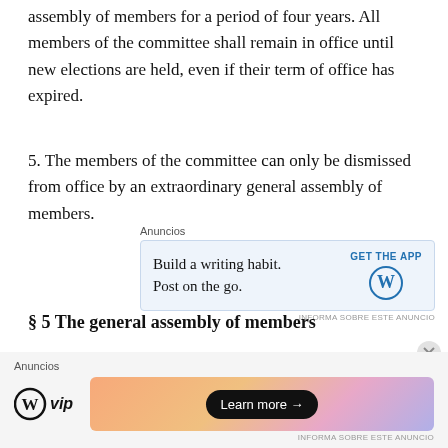assembly of members for a period of four years. All members of the committee shall remain in office until new elections are held, even if their term of office has expired.
5. The members of the committee can only be dismissed from office by an extraordinary general assembly of members.
[Figure (infographic): Advertisement: 'Build a writing habit. Post on the go.' with GET THE APP button and WordPress logo]
§ 5 The general assembly of members
1. An ordinary general assembly of members must be held at least once in
[Figure (infographic): Advertisement: WordPress VIP logo with gradient background and 'Learn more' button]